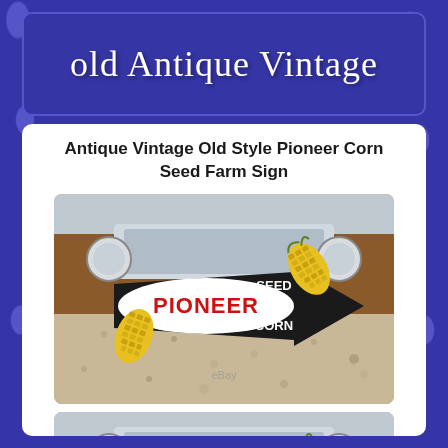old Antique Vintage
Antique Vintage Old Style Pioneer Corn Seed Farm Sign
[Figure (photo): Photo of an antique Pioneer Seed Corn farm sign, showing a black arrow-shaped sign with a white oval center reading PIONEER in red letters, with SEED above and CORN below in white, decorated with corn cob graphics. Sign is propped against an old vehicle bumper on gravel.]
[Figure (photo): Second cropped photo of the same Pioneer Seed Corn farm sign, showing the top portion with SEED text and partial PIONEER lettering visible, corn cob graphic and old vehicle bumper background.]